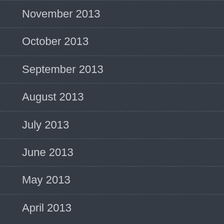November 2013
October 2013
September 2013
August 2013
July 2013
June 2013
May 2013
April 2013